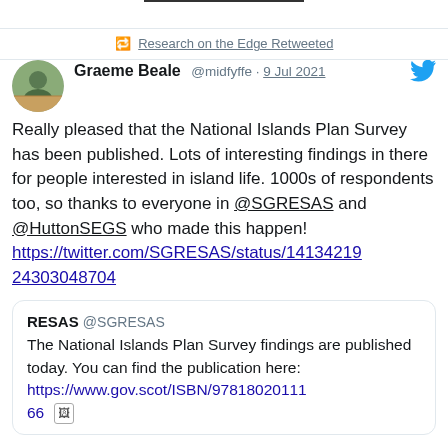Research on the Edge Retweeted
Graeme Beale @midfyffe · 9 Jul 2021
Really pleased that the National Islands Plan Survey has been published. Lots of interesting findings in there for people interested in island life. 1000s of respondents too, so thanks to everyone in @SGRESAS and @HuttonSEGS who made this happen! https://twitter.com/SGRESAS/status/14134219 24303048704
RESAS @SGRESAS The National Islands Plan Survey findings are published today. You can find the publication here: https://www.gov.scot/ISBN/97818020111 66